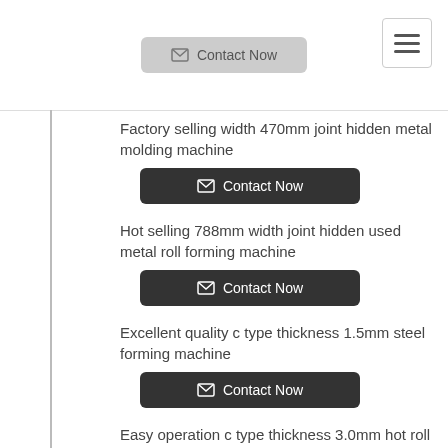Contact Now (button) | Hamburger menu
Factory selling width 470mm joint hidden metal molding machine
Contact Now
Hot selling 788mm width joint hidden used metal roll forming machine
Contact Now
Excellent quality c type thickness 1.5mm steel forming machine
Contact Now
Easy operation c type thickness 3.0mm hot roll forming machine
Contact Now
Hot selling c type galvanized steel machinery rolling machine
Contact Now